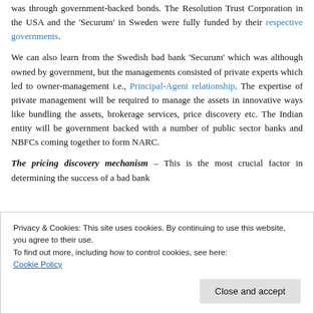was through government-backed bonds. The Resolution Trust Corporation in the USA and the 'Securum' in Sweden were fully funded by their respective governments.
We can also learn from the Swedish bad bank 'Securum' which was although owned by government, but the managements consisted of private experts which led to owner-management i.e., Principal-Agent relationship. The expertise of private management will be required to manage the assets in innovative ways like bundling the assets, brokerage services, price discovery etc. The Indian entity will be government backed with a number of public sector banks and NBFCs coming together to form NARC.
The pricing discovery mechanism – This is the most crucial factor in determining the success of a bad bank
Privacy & Cookies: This site uses cookies. By continuing to use this website, you agree to their use. To find out more, including how to control cookies, see here: Cookie Policy